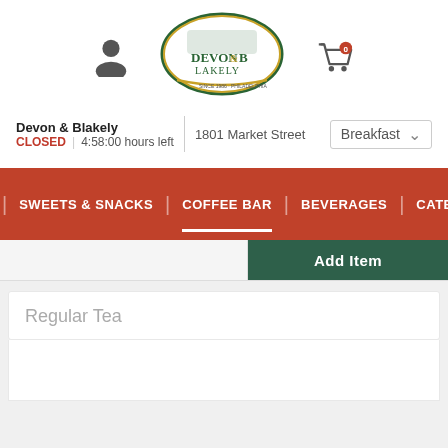[Figure (logo): Devon & Blakely logo — oval green/gold badge with train illustration]
Devon & Blakely | 1801 Market Street
CLOSED | 4:58:00 hours left
Breakfast ∨
SWEETS & SNACKS | COFFEE BAR | BEVERAGES | CATER
Add Item
Regular Tea